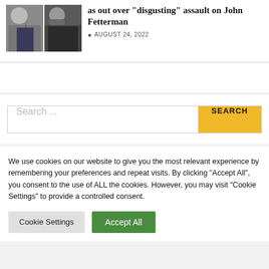as out over “disgusting” assault on John Fetterman
AUGUST 24, 2022
[Figure (photo): Two photos side by side: a man in a suit with a red tie speaking at a microphone, and a bearded man in a black hoodie gesturing while speaking.]
Search ...
We use cookies on our website to give you the most relevant experience by remembering your preferences and repeat visits. By clicking “Accept All”, you consent to the use of ALL the cookies. However, you may visit “Cookie Settings” to provide a controlled consent.
Cookie Settings
Accept All